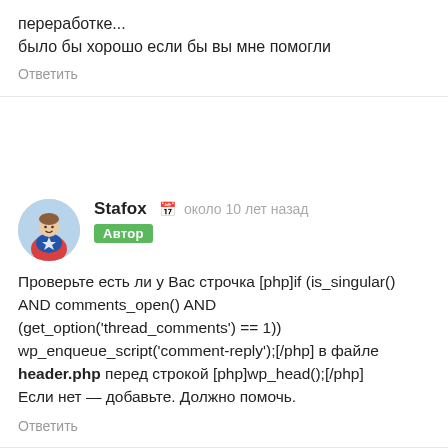переработке...
было бы хорошо если бы вы мне помогли
Ответить
Stafox   около 10 лет назад
Автор
Проверьте есть ли у Вас строчка [php]if (is_singular() AND comments_open() AND (get_option('thread_comments') == 1)) wp_enqueue_script('comment-reply');[/php] в файле header.php перед строкой [php]wp_head();[/php]
Если нет — добавьте. Должно помочь.
Ответить